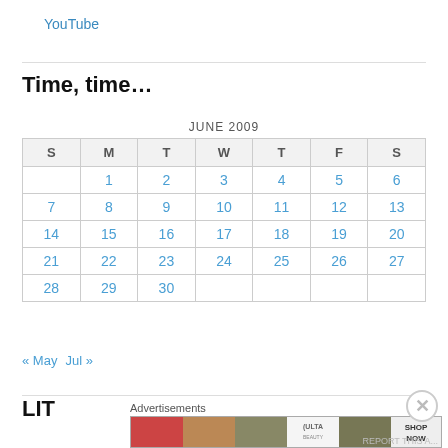YouTube
Time, time…
| S | M | T | W | T | F | S |
| --- | --- | --- | --- | --- | --- | --- |
|  | 1 | 2 | 3 | 4 | 5 | 6 |
| 7 | 8 | 9 | 10 | 11 | 12 | 13 |
| 14 | 15 | 16 | 17 | 18 | 19 | 20 |
| 21 | 22 | 23 | 24 | 25 | 26 | 27 |
| 28 | 29 | 30 |  |  |  |  |
« May   Jul »
[Figure (infographic): Advertisement banner for ULTA beauty showing makeup imagery with text SHOP NOW]
Advertisements